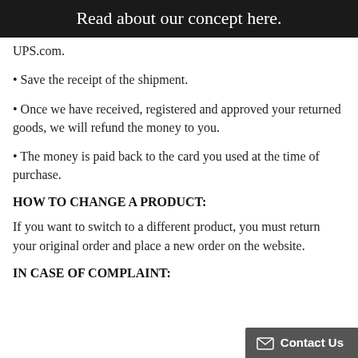Read about our concept here.
UPS.com.
• Save the receipt of the shipment.
• Once we have received, registered and approved your returned goods, we will refund the money to you.
• The money is paid back to the card you used at the time of purchase.
HOW TO CHANGE A PRODUCT:
If you want to switch to a different product, you must return your original order and place a new order on the website.
IN CASE OF COMPLAINT: